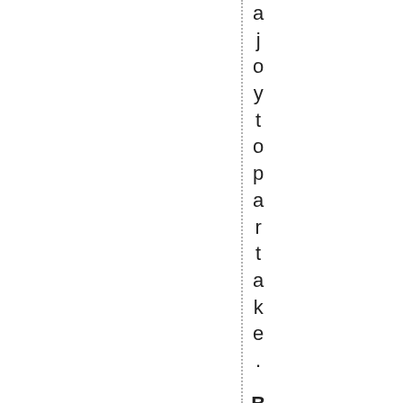a joy to partake. But there, s more